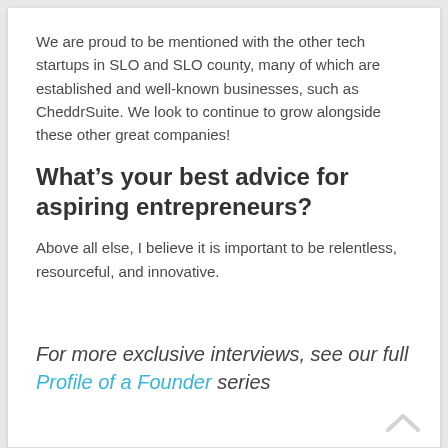We are proud to be mentioned with the other tech startups in SLO and SLO county, many of which are established and well-known businesses, such as CheddrSuite. We look to continue to grow alongside these other great companies!
What's your best advice for aspiring entrepreneurs?
Above all else, I believe it is important to be relentless, resourceful, and innovative.
For more exclusive interviews, see our full Profile of a Founder series